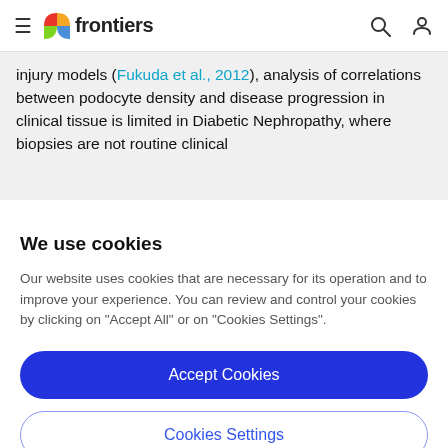frontiers
injury models (Fukuda et al., 2012), analysis of correlations between podocyte density and disease progression in clinical tissue is limited in Diabetic Nephropathy, where biopsies are not routine clinical
We use cookies
Our website uses cookies that are necessary for its operation and to improve your experience. You can review and control your cookies by clicking on "Accept All" or on "Cookies Settings".
Accept Cookies
Cookies Settings